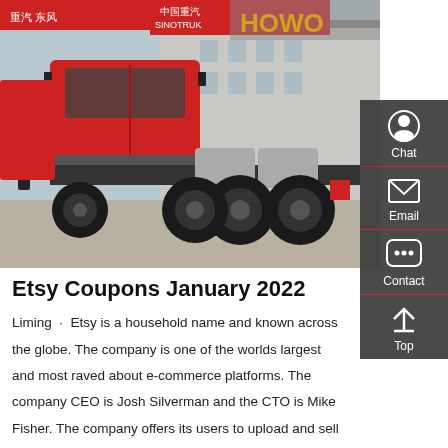[Figure (photo): A red Sinotruk HOWO semi-truck/tractor unit parked at a dealership lot, rear three-quarter view showing the chassis and large tires. Red trucks and Chinese signage visible in background including HOWO and SINOTRUK branding.]
Etsy Coupons January 2022
Liming · Etsy is a household name and known across the globe. The company is one of the worlds largest and most raved about e-commerce platforms. The company CEO is Josh Silverman and the CTO is Mike Fisher. The company offers its users to upload and sell their own crafts, products